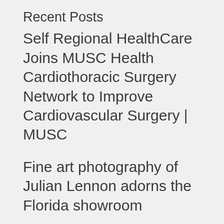Recent Posts
Self Regional HealthCare Joins MUSC Health Cardiothoracic Surgery Network to Improve Cardiovascular Surgery | MUSC
Fine art photography of Julian Lennon adorns the Florida showroom